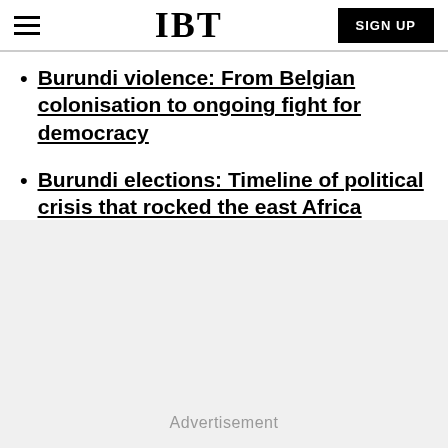IBT
Burundi violence: From Belgian colonisation to ongoing fight for democracy
Burundi elections: Timeline of political crisis that rocked the east Africa nation
Advertisement